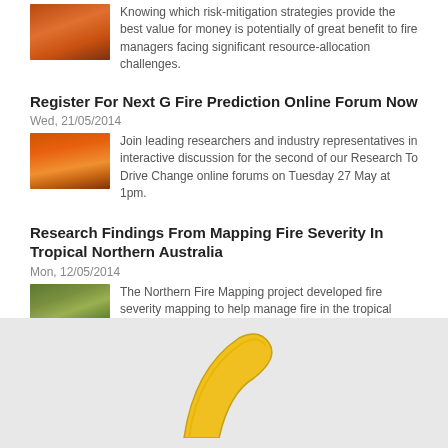Knowing which risk-mitigation strategies provide the best value for money is potentially of great benefit to fire managers facing significant resource-allocation challenges.
Register For Next G Fire Prediction Online Forum Now
Wed, 21/05/2014
[Figure (photo): Wildfire burning in landscape]
Join leading researchers and industry representatives in interactive discussion for the second of our Research To Drive Change online forums on Tuesday 27 May at 1pm.
Research Findings From Mapping Fire Severity In Tropical Northern Australia
Mon, 12/05/2014
[Figure (photo): Forest/savanna fire scene]
The Northern Fire Mapping project developed fire severity mapping to help manage fire in the tropical savannas and rangelands across Queensland, the Northern Territory and Western Australia. The online forum held for this study is now available for replay.
‹ previous   4 of 74   next ›
[Figure (photo): Yellow banana or similar object on grey background]